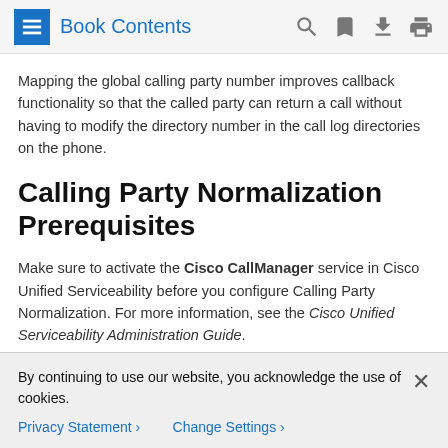Book Contents
Mapping the global calling party number improves callback functionality so that the called party can return a call without having to modify the directory number in the call log directories on the phone.
Calling Party Normalization Prerequisites
Make sure to activate the Cisco CallManager service in Cisco Unified Serviceability before you configure Calling Party Normalization. For more information, see the Cisco Unified Serviceability Administration Guide.
If you want Cisco Unified Communications Manager to determine the Calling Party Number Type, configure patterns
By continuing to use our website, you acknowledge the use of cookies.
Privacy Statement > Change Settings >